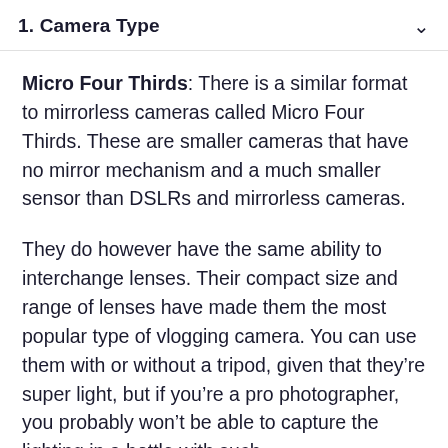1. Camera Type
Micro Four Thirds: There is a similar format to mirrorless cameras called Micro Four Thirds. These are smaller cameras that have no mirror mechanism and a much smaller sensor than DSLRs and mirrorless cameras.
They do however have the same ability to interchange lenses. Their compact size and range of lenses have made them the most popular type of vlogging camera. You can use them with or without a tripod, given that they’re super light, but if you’re a pro photographer, you probably won’t be able to capture the lighting in a bottle with such